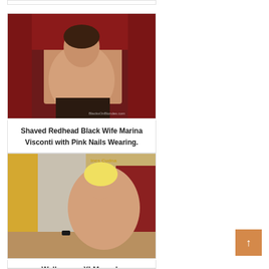[Figure (photo): Top partially visible card border at top of page]
[Figure (photo): Photo showing a woman on a red couch with watermark 'BlacksOnBlondes.com']
Shaved Redhead Black Wife Marina Visconti with Pink Nails Wearing.
[Figure (photo): Photo of a blonde woman with yellow curtains, watermark 'Ines Cudna']
Wallpapers XLMounds
[Figure (photo): Partially visible photo at bottom of page with green background]